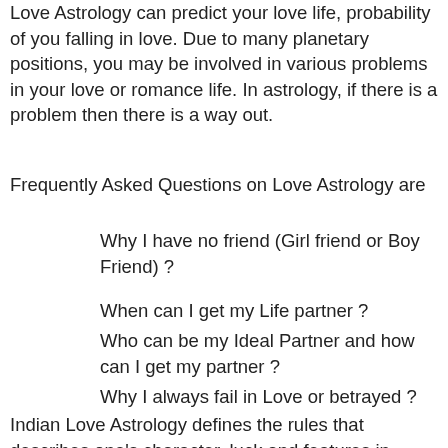Love Astrology can predict your love life, probability of you falling in love. Due to many planetary positions, you may be involved in various problems in your love or romance life. In astrology, if there is a problem then there is a way out.
Frequently Asked Questions on Love Astrology are
Why I have no friend (Girl friend or Boy Friend) ?
When can I get my Life partner ?
Who can be my Ideal Partner and how can I get my partner ?
Why I always fail in Love or betrayed ?
Indian Love Astrology defines the rules that describes one's character, luck and features in